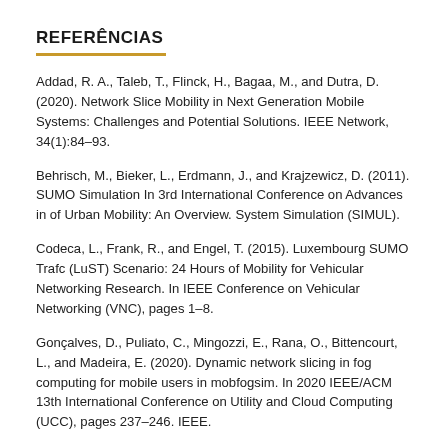REFERÊNCIAS
Addad, R. A., Taleb, T., Flinck, H., Bagaa, M., and Dutra, D. (2020). Network Slice Mobility in Next Generation Mobile Systems: Challenges and Potential Solutions. IEEE Network, 34(1):84–93.
Behrisch, M., Bieker, L., Erdmann, J., and Krajzewicz, D. (2011). SUMO Simulation In 3rd International Conference on Advances in of Urban Mobility: An Overview. System Simulation (SIMUL).
Codeca, L., Frank, R., and Engel, T. (2015). Luxembourg SUMO Trafc (LuST) Scenario: 24 Hours of Mobility for Vehicular Networking Research. In IEEE Conference on Vehicular Networking (VNC), pages 1–8.
Gonçalves, D., Puliato, C., Mingozzi, E., Rana, O., Bittencourt, L., and Madeira, E. (2020). Dynamic network slicing in fog computing for mobile users in mobfogsim. In 2020 IEEE/ACM 13th International Conference on Utility and Cloud Computing (UCC), pages 237–246. IEEE.